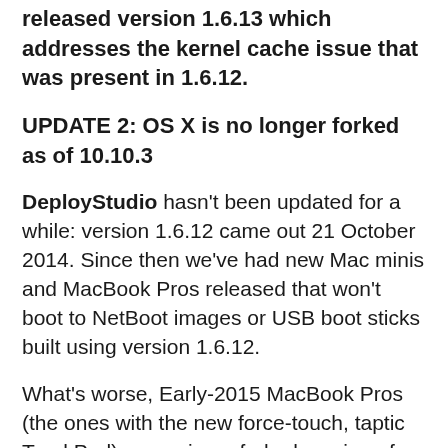released version 1.6.13 which addresses the kernel cache issue that was present in 1.6.12.
UPDATE 2: OS X is no longer forked as of 10.10.3
DeployStudio hasn’t been updated for a while: version 1.6.12 came out 21 October 2014. Since then we’ve had new Mac minis and MacBook Pros released that won’t boot to NetBoot images or USB boot sticks built using version 1.6.12.
What’s worse, Early-2015 MacBook Pros (the ones with the new force-touch, taptic TrackPad), are using a forked version of OS X 10.10.2 (14C2513) (regular Macs are still on 14C1514).
Late 2014 Mac minis